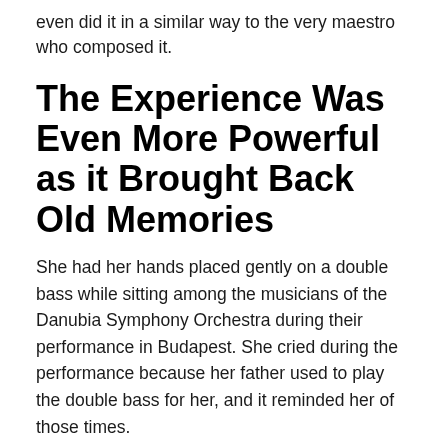even did it in a similar way to the very maestro who composed it.
The Experience Was Even More Powerful as it Brought Back Old Memories
She had her hands placed gently on a double bass while sitting among the musicians of the Danubia Symphony Orchestra during their performance in Budapest. She cried during the performance because her father used to play the double bass for her, and it reminded her of those times.